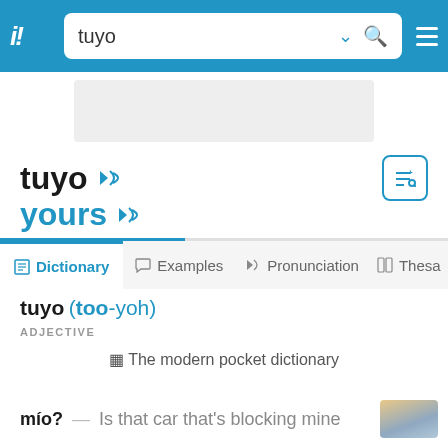tuyo — search bar header
[Figure (screenshot): Gray advertisement placeholder area]
tuyo
yours
Dictionary | Examples | Pronunciation | Thesaurus — navigation tabs
tuyo (too-yoh)
ADJECTIVE
🔒 The modern pocket dictionary
mío? — Is that car that's blocking mine